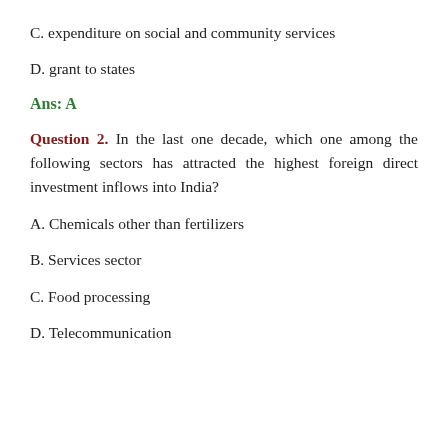C. expenditure on social and community services
D. grant to states
Ans: A
Question 2. In the last one decade, which one among the following sectors has attracted the highest foreign direct investment inflows into India?
A. Chemicals other than fertilizers
B. Services sector
C. Food processing
D. Telecommunication